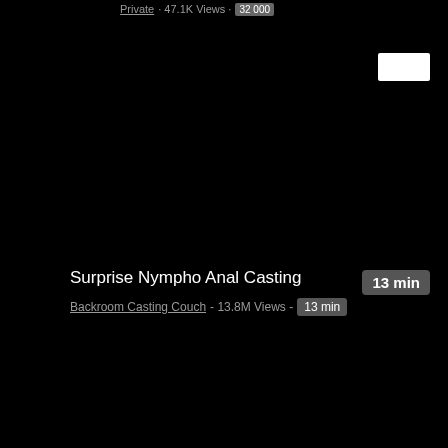Private · 47.1K Views · 32 000
[Figure (screenshot): Black video thumbnail area with a small white rectangle overlay in the top right]
Surprise Nympho Anal Casting
13 min
Backroom Casting Couch - 13.8M Views - 13 min